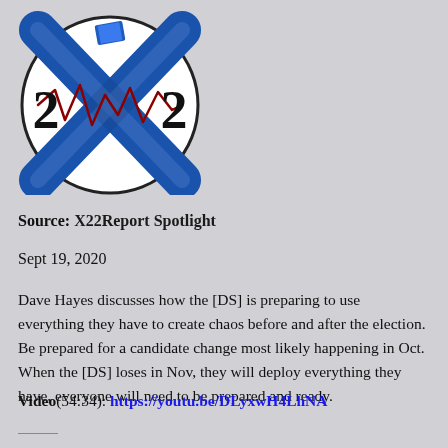[Figure (logo): X22 Report logo — blue metallic X with number 22 inside a circle]
Source: X22Report Spotlight
Sept 19, 2020
Dave Hayes discusses how the [DS] is preparing to use everything they have to create chaos before and after the election. Be prepared for a candidate change most likely happening in Oct. When the [DS] loses in Nov, they will deploy everything they have, everyone will need to be prepared and ready.
Video(54:34): https://youtu.be/DLyxwH4LhNA